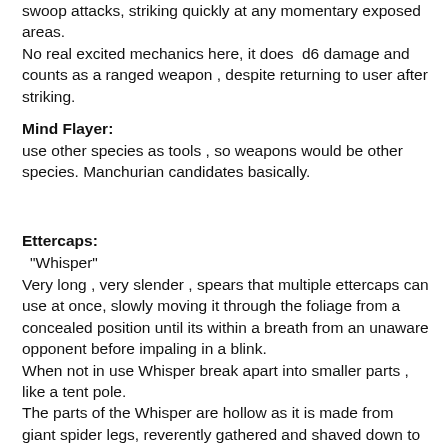swoop attacks, striking quickly at any momentary exposed areas.
No real excited mechanics here, it does  d6 damage and counts as a ranged weapon , despite returning to user after striking.
Mind Flayer:
use other species as tools , so weapons would be other species. Manchurian candidates basically.
Ettercaps:
"Whisper"
Very long , very slender , spears that multiple ettercaps can use at once, slowly moving it through the foliage from a concealed position until its within a breath from an unaware opponent before impaling in a blink.
When not in use Whisper break apart into smaller parts , like a tent pole.
The parts of the Whisper are hollow as it is made from giant spider legs, reverently gathered and shaved down to the